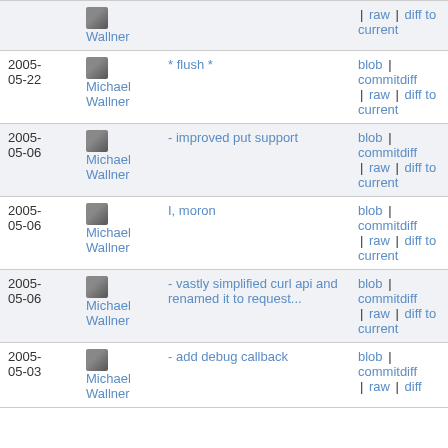| Date | Author | Commit message | Links |
| --- | --- | --- | --- |
|  | Michael Wallner |  | | raw | diff to current |
| 2005-05-22 | Michael Wallner | * flush * | blob | commitdiff | raw | diff to current |
| 2005-05-06 | Michael Wallner | - improved put support | blob | commitdiff | raw | diff to current |
| 2005-05-06 | Michael Wallner | I, moron | blob | commitdiff | raw | diff to current |
| 2005-05-06 | Michael Wallner | - vastly simplified curl api and renamed it to request... | blob | commitdiff | raw | diff to current |
| 2005-05-03 | Michael Wallner | - add debug callback | blob | commitdiff | raw | diff |